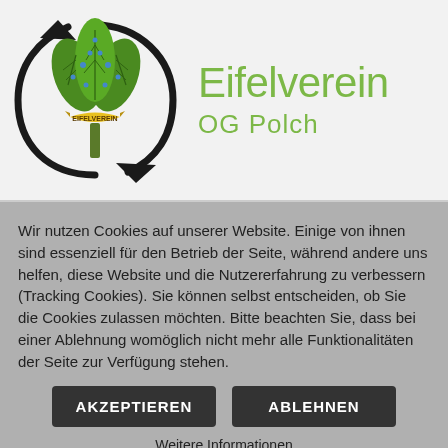[Figure (logo): Eifelverein logo: green leaves with circular arrow around them, yellow banner with EIFELVEREIN text, with organization name 'Eifelverein OG Polch' in green text to the right]
Wir nutzen Cookies auf unserer Website. Einige von ihnen sind essenziell für den Betrieb der Seite, während andere uns helfen, diese Website und die Nutzererfahrung zu verbessern (Tracking Cookies). Sie können selbst entscheiden, ob Sie die Cookies zulassen möchten. Bitte beachten Sie, dass bei einer Ablehnung womöglich nicht mehr alle Funktionalitäten der Seite zur Verfügung stehen.
AKZEPTIEREN
ABLEHNEN
Weitere Informationen